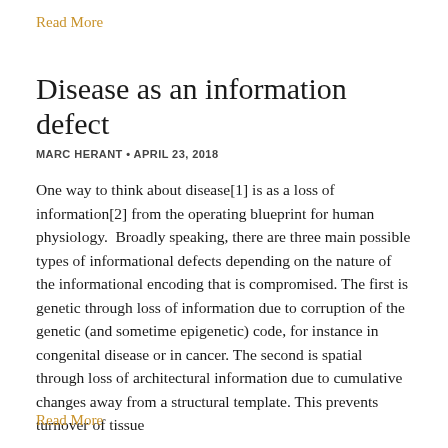Read More
Disease as an information defect
MARC HERANT • APRIL 23, 2018
One way to think about disease[1] is as a loss of information[2] from the operating blueprint for human physiology.  Broadly speaking, there are three main possible types of informational defects depending on the nature of the informational encoding that is compromised. The first is genetic through loss of information due to corruption of the genetic (and sometime epigenetic) code, for instance in congenital disease or in cancer. The second is spatial through loss of architectural information due to cumulative changes away from a structural template. This prevents turnover of tissue
Read More